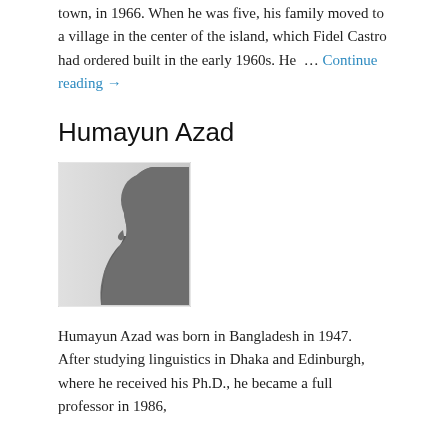town, in 1966. When he was five, his family moved to a village in the center of the island, which Fidel Castro had ordered built in the early 1960s. He … Continue reading →
Humayun Azad
[Figure (photo): Silhouette placeholder image of a person facing left, gray tones on white background]
Humayun Azad was born in Bangladesh in 1947.  After studying linguistics in Dhaka and Edinburgh, where he received his Ph.D., he became a full professor in 1986,